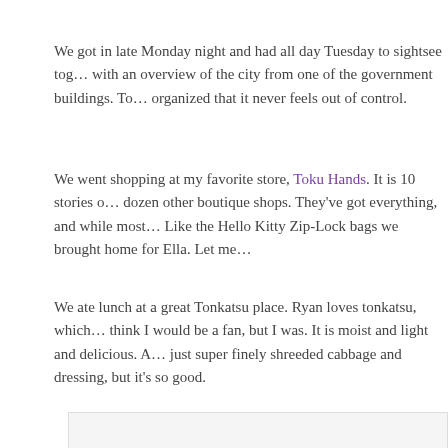We got in late Monday night and had all day Tuesday to sightsee together with an overview of the city from one of the government buildings. Tokyo is so organized that it never feels out of control.
We went shopping at my favorite store, Toku Hands. It is 10 stories of a dozen other boutique shops. They've got everything, and while most of it is... Like the Hello Kitty Zip-Lock bags we brought home for Ella. Let me...
We ate lunch at a great Tonkatsu place. Ryan loves tonkatsu, which... think I would be a fan, but I was. It is moist and light and delicious. A... just super finely shreeded cabbage and dressing, but it's so good.
[Figure (photo): A large image placeholder box with light gray background and border, partially cut off at the bottom of the page.]